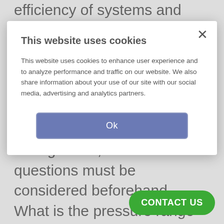efficiency of systems and help optimize their operation. Selecting and installing the correct
[Figure (screenshot): Cookie consent modal dialog with title 'This website uses cookies', body text explaining cookie usage, and an 'Ok' button in blue-gray.]
the right one, several questions must be considered beforehand. What is the pressure range that the transducer will measure? What is the maximum pressure the transducer will encounter? What is the potential for over pressure in the system? What is the proof and burst pressure? The answers to these questions can be found in the transducer data sheet, and manufacturers will have application
[Figure (other): Green 'CONTACT US' button in bottom right corner]